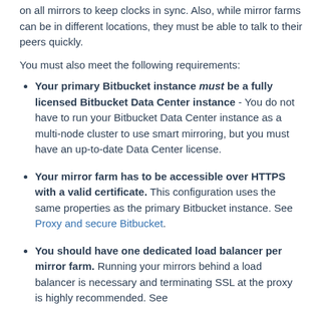on all mirrors to keep clocks in sync. Also, while mirror farms can be in different locations, they must be able to talk to their peers quickly.
You must also meet the following requirements:
Your primary Bitbucket instance must be a fully licensed Bitbucket Data Center instance - You do not have to run your Bitbucket Data Center instance as a multi-node cluster to use smart mirroring, but you must have an up-to-date Data Center license.
Your mirror farm has to be accessible over HTTPS with a valid certificate. This configuration uses the same properties as the primary Bitbucket instance. See Proxy and secure Bitbucket.
You should have one dedicated load balancer per mirror farm. Running your mirrors behind a load balancer is necessary and terminating SSL at the proxy is highly recommended. See